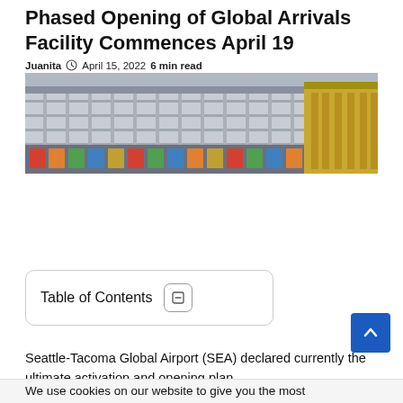Phased Opening of Global Arrivals Facility Commences April 19
Juanita  April 15, 2022  6 min read
[Figure (photo): Aerial or wide-angle photo of an airport terminal building showing gates, colorful signage and structural elements.]
Table of Contents
Seattle-Tacoma Global Airport (SEA) declared currently the ultimate activation and opening plan
We use cookies on our website to give you the most